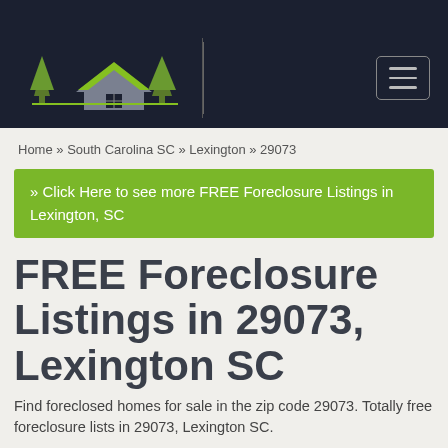[Figure (logo): ForeclosureListingsUSA.com website header with house/tree logo in green and grey on dark navy background, with hamburger menu button]
Home » South Carolina SC » Lexington » 29073
» Click Here to see more FREE Foreclosure Listings in Lexington, SC
FREE Foreclosure Listings in 29073, Lexington SC
Find foreclosed homes for sale in the zip code 29073. Totally free foreclosure lists in 29073, Lexington SC.